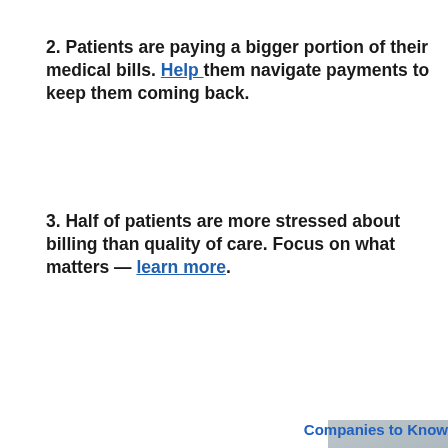2. Patients are paying a bigger portion of their medical bills. Help them navigate payments to keep them coming back.
3. Half of patients are more stressed about billing than quality of care. Focus on what matters — learn more.
[Figure (photo): Advertisement image showing a healthcare provider with text: 'The patient experience isn't as healthcare leaders think. Find out what 1,800 patients, had to say in a new report.' with a 'Read the report' button.]
Companies to Know